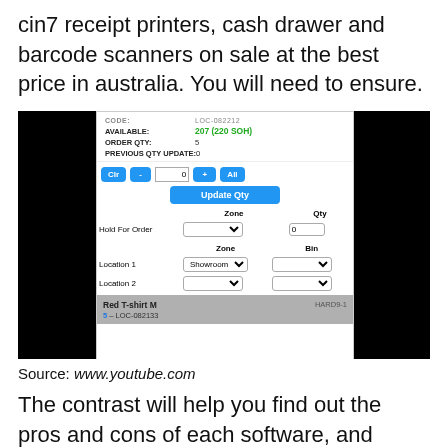cin7 receipt printers, cash drawer and barcode scanners on sale at the best price in australia. You will need to ensure.
[Figure (screenshot): Screenshot of a Cin7 inventory management software interface showing a stock update dialog with fields for CODE, AVAILABLE (207 (220 SOH)), ORDER QTY: 5, PREVIOUS QTY UPDATE: 0, quantity adjustment buttons (Clr, -, 0, +, All), Update Qty button, Zone/Qty table with Hold For Order row, Zone/Bin table with Location 1 (Showroom) and Location 2, and a gray bar showing Red T-shirt M, 5 - LOC-082133, HARD9-1]
Source: www.youtube.com
The contrast will help you find out the pros and cons of each software, and decide which matches your. When you pair your zebra